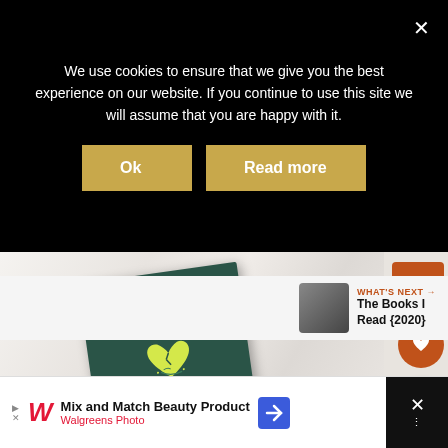We use cookies to ensure that we give you the best experience on our website. If you continue to use this site we will assume that you are happy with it.
[Figure (screenshot): Cookie consent banner with Ok and Read more buttons on black background, with an X close button]
[Figure (photo): Book titled 'How to Fall in Love' with dark green cover and yellow heart, lying on marble surface, with orange up-arrow, heart, and share buttons on the right]
WHAT'S NEXT → The Books I Read {2020}
[Figure (screenshot): Advertisement for Walgreens Photo showing Mix and Match Beauty Products with W logo and navigation icon]